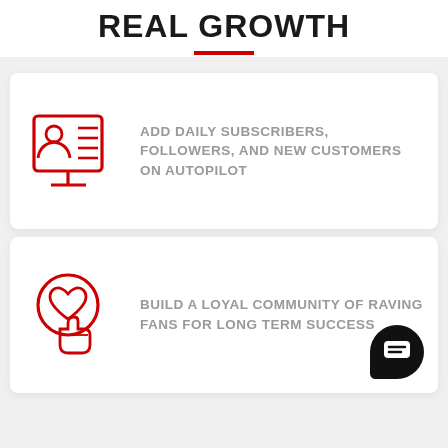REAL GROWTH
[Figure (illustration): Red outline icon of a person on a computer/monitor screen with a profile and list lines, representing online subscribers or followers]
ADD DAILY SUBSCRIBERS, FOLLOWERS, AND NEW CUSTOMERS ON AUTOPILOT
[Figure (illustration): Red outline icon of a hand pointing/clicking on a heart inside a circle, representing community engagement and loyal fans]
BUILD A LOYAL COMMUNITY OF RAVING FANS FOR LONG TERM SUCCESS